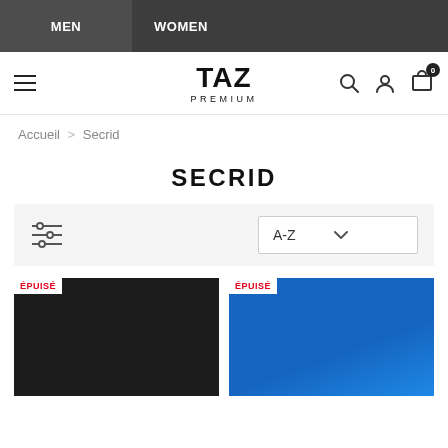MEN  WOMEN
[Figure (logo): TAZ PREMIUM logo with hamburger menu, search icon, user icon, and cart icon with 0 badge]
Accueil > Secrid
SECRID
[Figure (screenshot): Filter/sort bar with filter icon and A-Z sort dropdown]
[Figure (photo): Two Secrid card holder products: left black labeled ÉPUISÉ, right blue labeled ÉPUISÉ]